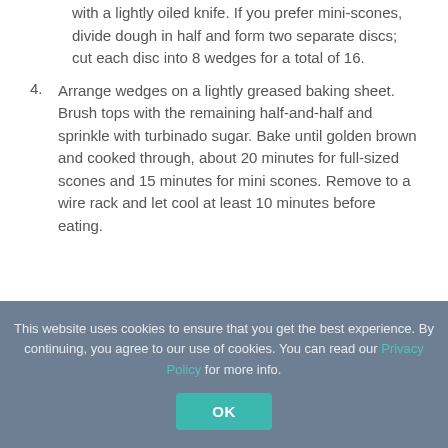with a lightly oiled knife. If you prefer mini-scones, divide dough in half and form two separate discs; cut each disc into 8 wedges for a total of 16.
4. Arrange wedges on a lightly greased baking sheet. Brush tops with the remaining half-and-half and sprinkle with turbinado sugar. Bake until golden brown and cooked through, about 20 minutes for full-sized scones and 15 minutes for mini scones. Remove to a wire rack and let cool at least 10 minutes before eating.
This website uses cookies to ensure that you get the best experience. By continuing, you agree to our use of cookies. You can read our Privacy Policy for more info.